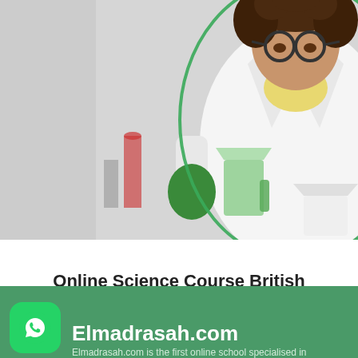[Figure (photo): A young child wearing glasses, a white lab coat, and green gloves, pouring liquid from a beaker in a science experiment setting. Green outline around the child against a light gray background.]
Online Science Course British Curriculum
1,500.00|.د  999.00|.د
Elmadrasah.com
Elmadrasah.com is the first online school specialised in